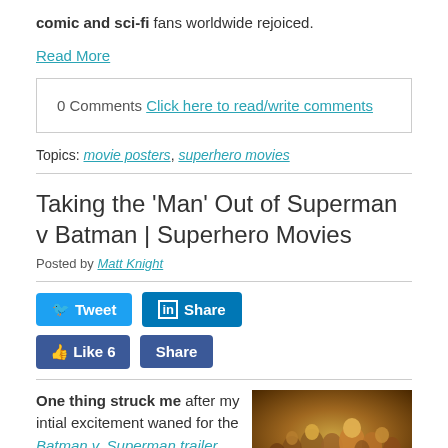comic and sci-fi fans worldwide rejoiced.
Read More
0 Comments Click here to read/write comments
Topics: movie posters, superhero movies
Taking the 'Man' Out of Superman v Batman | Superhero Movies
Posted by Matt Knight
[Figure (screenshot): Social media share buttons: Tweet (Twitter), Share (LinkedIn), Like 6 (Facebook), Share (Facebook)]
One thing struck me after my intial excitement waned for the Batman v. Superman trailer that was leaked
[Figure (photo): A crowd scene with people, warm yellow/brown tones, movie still]